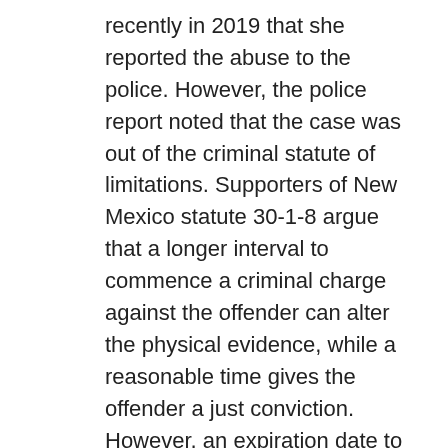recently in 2019 that she reported the abuse to the police. However, the police report noted that the case was out of the criminal statute of limitations. Supporters of New Mexico statute 30-1-8 argue that a longer interval to commence a criminal charge against the offender can alter the physical evidence, while a reasonable time gives the offender a just conviction. However, an expiration date to a sexual assault also denies the victim time to seek justice through the legal system. Consequently, the statute should be amended to unlimited statute of limitations on sexual assault crime. Can we amend this law? In this way New Mexico citizens will know the problem is being attended to by their state legislature. Thank you very much for taking the time to read this letter and your consideration. Boy, oh, boy, Larry, I know that you are going to have some things to say about this.